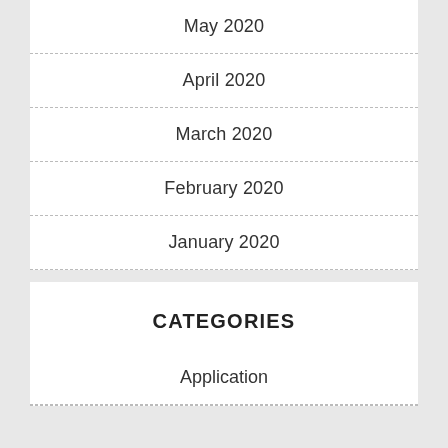May 2020
April 2020
March 2020
February 2020
January 2020
CATEGORIES
Application